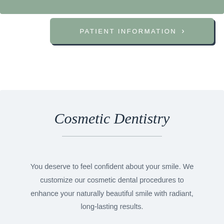[Figure (other): Partial green navigation bar at top of page]
[Figure (other): Green button labeled PATIENT INFORMATION with chevron arrow, with dark shadow effect]
Cosmetic Dentistry
You deserve to feel confident about your smile. We customize our cosmetic dental procedures to enhance your naturally beautiful smile with radiant, long-lasting results.